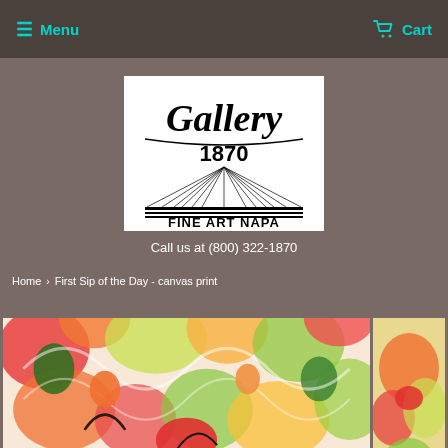Menu  Cart
[Figure (logo): Gallery 1870 Fine Art Napa logo — black text on white background with radiating lines graphic]
Call us at (800) 322-1870
Home › First Sip of the Day - canvas print
[Figure (photo): Colorful abstract floral painting canvas print — main large view]
[Figure (photo): Colorful abstract floral painting canvas print — small thumbnail view]